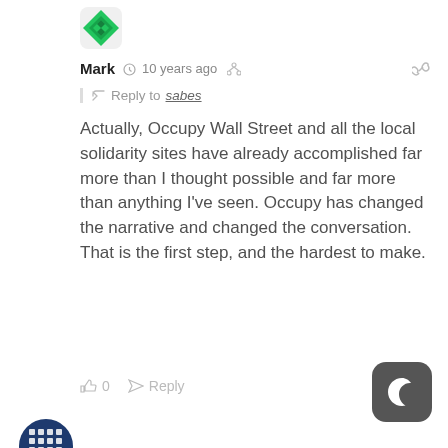[Figure (illustration): Green diamond/heart shaped avatar icon for user Mark]
Mark  10 years ago
Reply to sabes
Actually, Occupy Wall Street and all the local solidarity sites have already accomplished far more than I thought possible and far more than anything I've seen. Occupy has changed the narrative and changed the conversation. That is the first step, and the hardest to make.
0  Reply
[Figure (illustration): Blue circular avatar icon with white grid/diamond pattern for user wade]
wade  10 years ago
do you think people choosing to move money to smaller banks or credit unions would have happened without the occupy movement? i really don't know